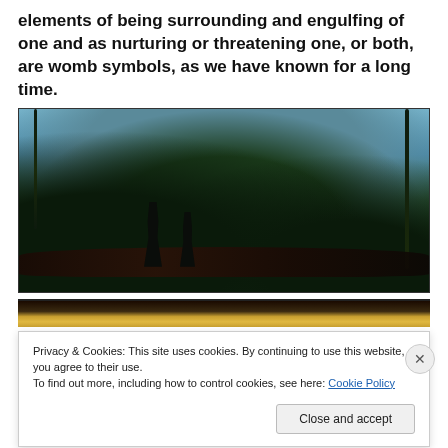elements of being surrounding and engulfing of one and as nurturing or threatening one, or both, are womb symbols, as we have known for a long time.
[Figure (photo): A scene from Avatar showing two tall blue Na'vi humanoid silhouettes standing on a large tree branch overlooking a lush alien landscape with waterfalls, floating mountains, and dense green forest under a hazy sky.]
[Figure (photo): Partial view of a second image below the first, showing a brownish-golden decorative or title element, mostly obscured.]
Privacy & Cookies: This site uses cookies. By continuing to use this website, you agree to their use.
To find out more, including how to control cookies, see here: Cookie Policy